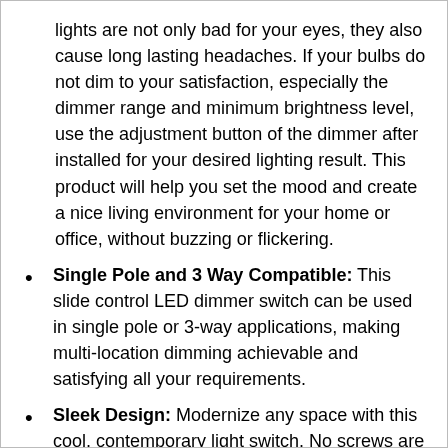lights are not only bad for your eyes, they also cause long lasting headaches. If your bulbs do not dim to your satisfaction, especially the dimmer range and minimum brightness level, use the adjustment button of the dimmer after installed for your desired lighting result. This product will help you set the mood and create a nice living environment for your home or office, without buzzing or flickering.
Single Pole and 3 Way Compatible: This slide control LED dimmer switch can be used in single pole or 3-way applications, making multi-location dimming achievable and satisfying all your requirements.
Sleek Design: Modernize any space with this cool, contemporary light switch. No screws are needed to mount the wall plate, giving the switch a clean look and smooth finish that allows it to seamlessly blend into its surroundings. The sleek white design is suitable for all internal rooms such as kitchen, lounge and bedrooms, as well as business environments such as restaurants